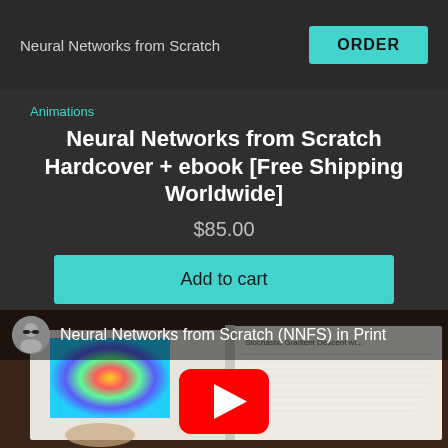Neural Networks from Scratch
ORDER
Animations
Neural Networks from Scratch Hardcover + ebook [Free Shipping Worldwide]
$85.00
Add to cart
[Figure (screenshot): YouTube video thumbnail showing an open book with a colorful spiral fractal image, a dog in the background, and YouTube play button overlay. Channel avatar and title 'Neural Networks from Scratch (NNFS) in Print' visible.]